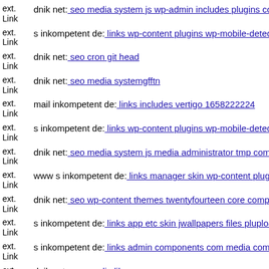ext. Link dnik net: seo media system js wp-admin includes plugins conte…
ext. Link s inkompetent de: links wp-content plugins wp-mobile-detecto…
ext. Link dnik net: seo cron git head
ext. Link dnik net: seo media systemgfftn
ext. Link mail inkompetent de: links includes vertigo 1658222224
ext. Link s inkompetent de: links wp-content plugins wp-mobile-detecto…
ext. Link dnik net: seo media system js media administrator tmp compone…
ext. Link www s inkompetent de: links manager skin wp-content plugins…
ext. Link dnik net: seo wp-content themes twentyfourteen core compone…
ext. Link s inkompetent de: links app etc skin jwallpapers files plupload
ext. Link s inkompetent de: links admin components com media com sex…
ext. Link dnik net: seo media lib…